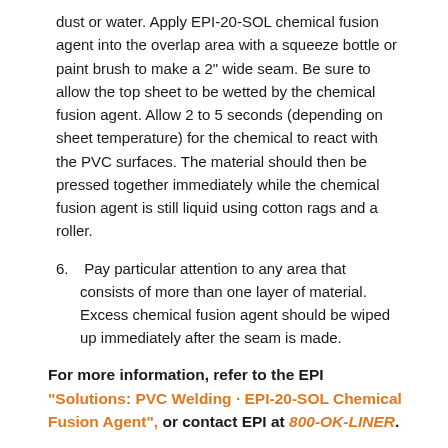dust or water. Apply EPI-20-SOL chemical fusion agent into the overlap area with a squeeze bottle or paint brush to make a 2" wide seam. Be sure to allow the top sheet to be wetted by the chemical fusion agent. Allow 2 to 5 seconds (depending on sheet temperature) for the chemical to react with the PVC surfaces. The material should then be pressed together immediately while the chemical fusion agent is still liquid using cotton rags and a roller.
6. Pay particular attention to any area that consists of more than one layer of material. Excess chemical fusion agent should be wiped up immediately after the seam is made.
For more information, refer to the EPI "Solutions: PVC Welding · EPI-20-SOL Chemical Fusion Agent", or contact EPI at 800-OK-LINER.